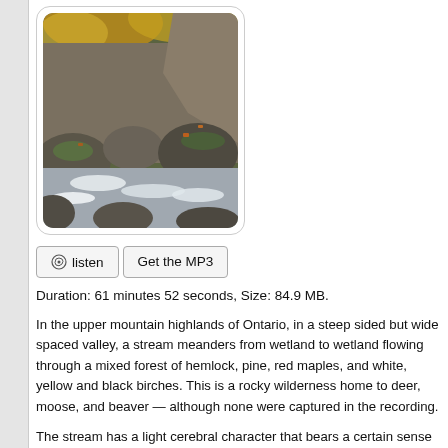[Figure (photo): A rocky mountain stream flowing through a mixed forest, with moss-covered boulders, autumn foliage of orange and yellow leaves, and white rushing water. Photograph shown inside a rounded-corner frame.]
🎧 listen   Get the MP3
Duration: 61 minutes 52 seconds, Size: 84.9 MB.
In the upper mountain highlands of Ontario, in a steep sided but wide spaced valley, a stream meanders from wetland to wetland flowing through a mixed forest of hemlock, pine, red maples, and white, yellow and black birches. This is a rocky wilderness home to deer, moose, and beaver — although none were captured in the recording.
The stream has a light cerebral character that bears a certain sense of groundedness for reflective thought and meditation. The surround-sound recording of water immerses the listener in the stream experience to wash away tension and cleanse the mind by effectively distracting the mind from the thoughts of everyday stress and concerns thereby allowing the mind (and body) to relax. A friend observed that this recording